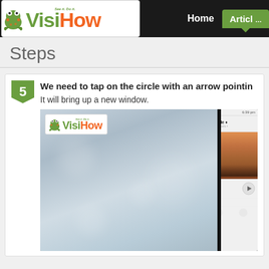[Figure (logo): VisiHow logo with frog mascot and tagline 'See it. Do it.' in green and orange]
Home
Articles
Steps
5  We need to tap on the circle with an arrow pointing. It will bring up a new window.
[Figure (screenshot): Screenshot showing VisiHow website on left with blurry background and VisiHow logo overlay, and a mobile phone screen on the right showing a chat interface with a landscape photo and video content at bottom]